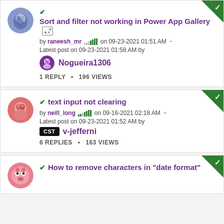Sort and filter not working in Power App Gallery [image icon] by raneesh_mr on 09-23-2021 01:51 AM · Latest post on 09-23-2021 01:58 AM by Nogueira1306 | 1 REPLY · 196 VIEWS
text input not clearing by neill_long on 09-16-2021 02:18 AM · Latest post on 09-23-2021 01:52 AM by v-jefferni | 6 REPLIES · 163 VIEWS
How to remove characters in "date format"